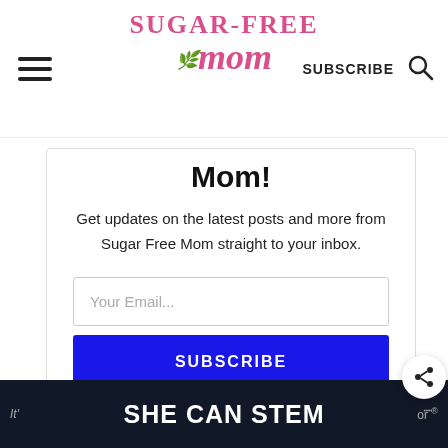Sugar-Free Mom — SUBSCRIBE
Mom!
Get updates on the latest posts and more from Sugar Free Mom straight to your inbox.
Your Email...
SUBSCRIBE
I consent to receiving emails and personalized ads.
SHE CAN STEM